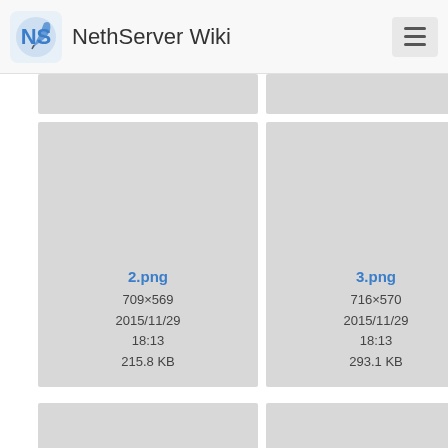NethServer Wiki
[Figure (screenshot): NethServer Wiki file browser grid showing image thumbnails with filenames, dimensions, dates, and file sizes. Cards shown: 2.png (709×569, 2015/11/29 18:13, 215.8 KB), 3.png (716×570, 2015/11/29 18:13, 293.1 KB), 4.png (partially visible with context menu overlay showing document, history, link, and upload icons), 5.png (715×584, partially shown), 6.png (715×588, partially shown), 7.png (partially visible)]